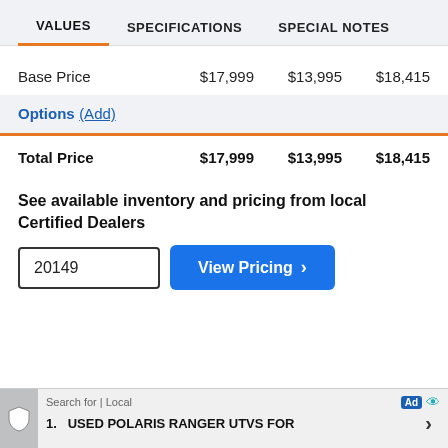VALUES	SPECIFICATIONS	SPECIAL NOTES
|  | Col1 | Col2 | Col3 |
| --- | --- | --- | --- |
| Base Price | $17,999 | $13,995 | $18,415 |
| Total Price | $17,999 | $13,995 | $18,415 |
Options (Add)
See available inventory and pricing from local Certified Dealers
20149  View Pricing
Search for | Local  Ad  1. USED POLARIS RANGER UTVS FOR